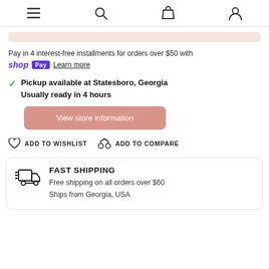≡ [search] [bag] [user]
Pay in 4 interest-free installments for orders over $50 with shop Pay Learn more
✓ Pickup available at Statesboro, Georgia
Usually ready in 4 hours
View store information
ADD TO WISHLIST   ADD TO COMPARE
FAST SHIPPING
Free shipping on all orders over $60
Ships from Georgia, USA